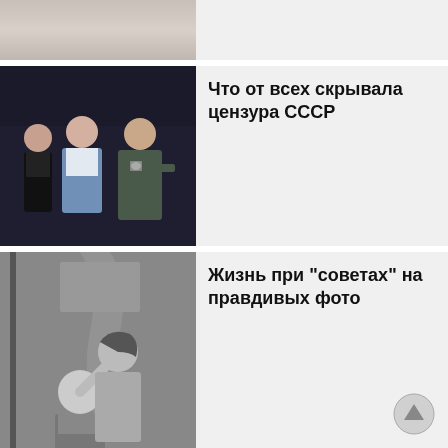[Figure (photo): Partial top of a card showing a soft/blurry image (cropped, only bottom portion visible)]
[Figure (photo): Color photograph of people at night: women and a man in a military/police uniform]
Что от всех скрывала цензура СССР
[Figure (photo): Black and white photograph of two people, a man and woman, in an intimate scene near a bunk bed]
Жизнь при "советах" на правдивых фото